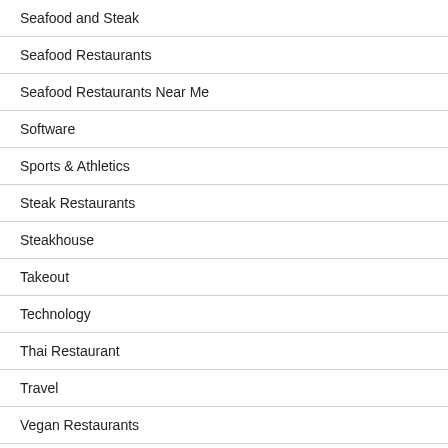Seafood and Steak
Seafood Restaurants
Seafood Restaurants Near Me
Software
Sports & Athletics
Steak Restaurants
Steakhouse
Takeout
Technology
Thai Restaurant
Travel
Vegan Restaurants
Web Resources